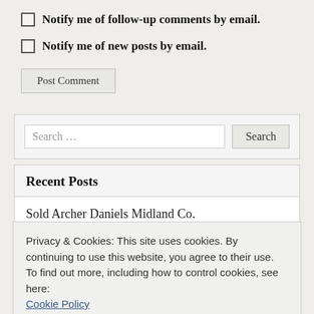Notify me of follow-up comments by email.
Notify me of new posts by email.
Post Comment
Search ...
Recent Posts
Sold Archer Daniels Midland Co.
Portfolio Goal for this year...
Privacy & Cookies: This site uses cookies. By continuing to use this website, you agree to their use.
To find out more, including how to control cookies, see here:
Cookie Policy
Close and accept